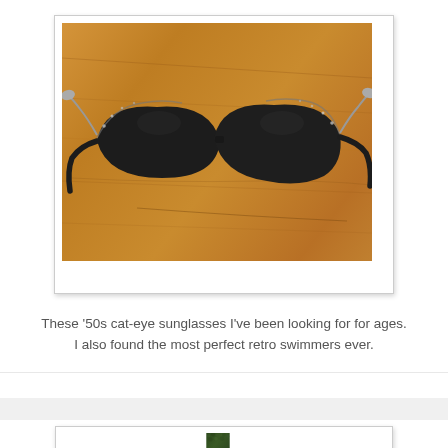[Figure (photo): A Polaroid-style photo of vintage 1950s black cat-eye sunglasses with silver tips resting on a wooden surface with warm brown tones]
These '50s cat-eye sunglasses I've been looking for for ages. I also found the most perfect retro swimmers ever.
[Figure (photo): A Polaroid-style photo showing a close-up of green grass or ground cover, partially visible at the bottom of the page]